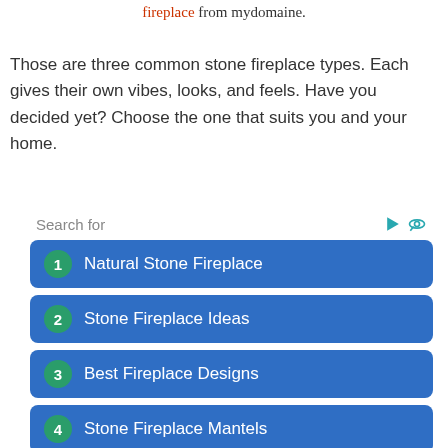fireplace from mydomaine.
Those are three common stone fireplace types. Each gives their own vibes, looks, and feels. Have you decided yet? Choose the one that suits you and your home.
1 Natural Stone Fireplace
2 Stone Fireplace Ideas
3 Best Fireplace Designs
4 Stone Fireplace Mantels